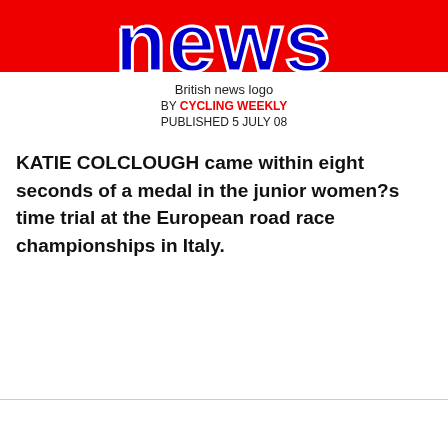[Figure (logo): British news logo banner — red background with large blue bold 'news' text in white-outlined style]
British news logo
BY CYCLING WEEKLY
PUBLISHED 5 JULY 08
KATIE COLCLOUGH came within eight seconds of a medal in the junior women?s time trial at the European road race championships in Italy.